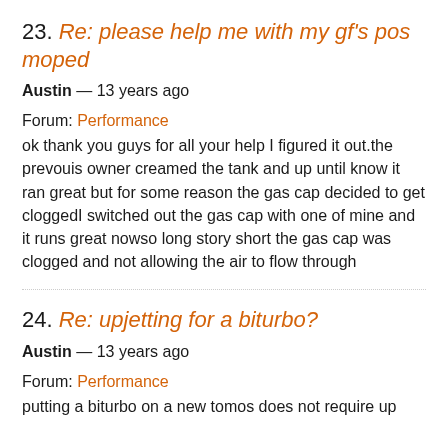23. Re: please help me with my gf's pos moped
Austin — 13 years ago
Forum: Performance
ok thank you guys for all your help I figured it out.the prevouis owner creamed the tank and up until know it ran great but for some reason the gas cap decided to get cloggedI switched out the gas cap with one of mine and it runs great nowso long story short the gas cap was clogged and not allowing the air to flow through
24. Re: upjetting for a biturbo?
Austin — 13 years ago
Forum: Performance
putting a biturbo on a new tomos does not require up